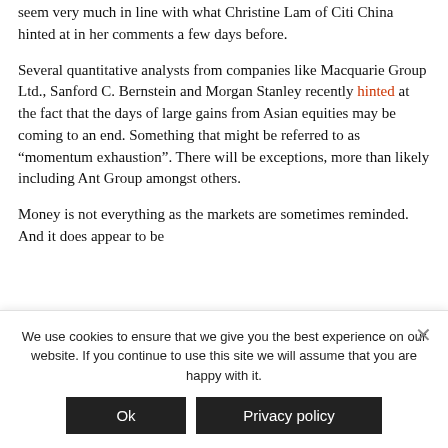seem very much in line with what Christine Lam of Citi China hinted at in her comments a few days before.
Several quantitative analysts from companies like Macquarie Group Ltd., Sanford C. Bernstein and Morgan Stanley recently hinted at the fact that the days of large gains from Asian equities may be coming to an end. Something that might be referred to as “momentum exhaustion”. There will be exceptions, more than likely including Ant Group amongst others.
Money is not everything as the markets are sometimes reminded. And it does appear to be
We use cookies to ensure that we give you the best experience on our website. If you continue to use this site we will assume that you are happy with it.